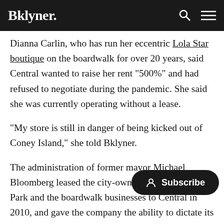Bklyner.
Dianna Carlin, who has run her eccentric Lola Star boutique on the boardwalk for over 20 years, said Central wanted to raise her rent "500%" and had refused to negotiate during the pandemic. She said she was currently operating without a lease.
"My store is still in danger of being kicked out of Coney Island," she told Bklyner.
The administration of former mayor Michael Bloomberg leased the city-owned land under Luna Park and the boardwalk businesses to Central in 2010, and gave the company the ability to dictate its own lease agreements with small businesses. The agreement was part of a larger plan for Coney Island that has yet to fully materialize.